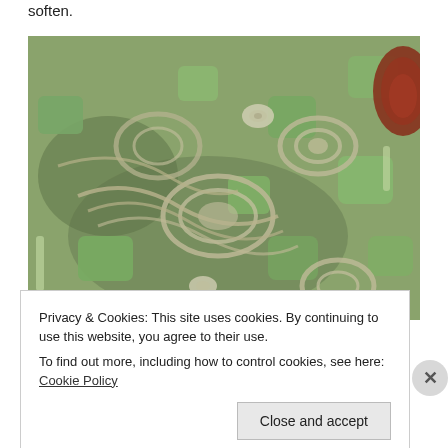soften.
[Figure (photo): Close-up photo of chopped and sliced vegetables including zucchini, onions, and other mixed vegetables in a pan or bowl.]
Privacy & Cookies: This site uses cookies. By continuing to use this website, you agree to their use.
To find out more, including how to control cookies, see here: Cookie Policy
Close and accept